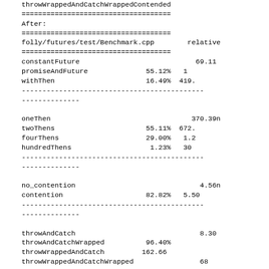throwWrappedAndCatchWrappedContended
============================================================

After:
============================================================
folly/futures/test/Benchmark.cpp                    relative
============================================================
constantFuture                                        69.11
promiseAndFuture                        55.12%   1
withThen                                16.49%  419.
------------------------------------------------------------
--------------
oneThen                                              370.39n
twoThens                                55.11%  672.
fourThens                               29.00%   1.2
hundredThens                             1.23%   30
------------------------------------------------------------
--------------
no_contention                                         4.56n
contention                              82.82%   5.50
------------------------------------------------------------
--------------
throwAndCatch                                         8.30
throwAndCatchWrapped                    96.40%
throwWrappedAndCatch                   162.66
throwWrappedAndCatchWrapped                           68
------------------------------------------------------------
--------------
throwAndCatchContended
throwAndCatchWrappedContended                         10
throwWrappedAndCatchContended                         40